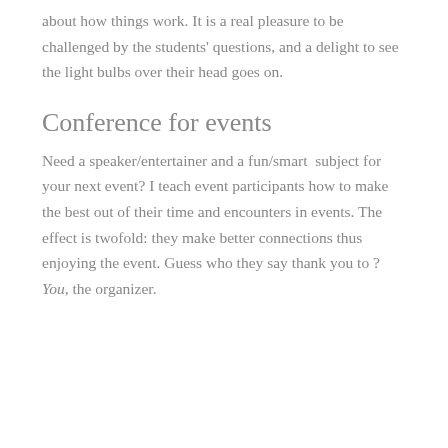about how things work. It is a real pleasure to be challenged by the students' questions, and a delight to see the light bulbs over their head goes on.
Conference for events
Need a speaker/entertainer and a fun/smart  subject for your next event? I teach event participants how to make the best out of their time and encounters in events. The effect is twofold: they make better connections thus enjoying the event. Guess who they say thank you to ? You, the organizer.